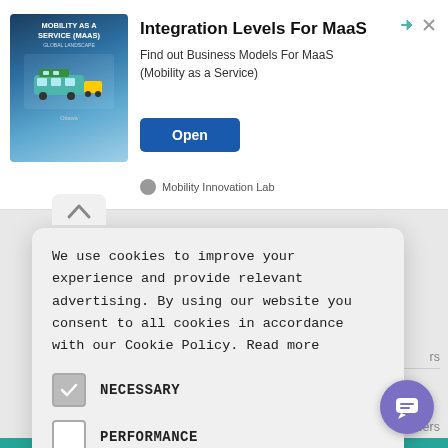[Figure (screenshot): Advertisement banner for 'Integration Levels For MaaS' by Mobility Innovation Lab with an Open button]
We use cookies to improve your experience and provide relevant advertising. By using our website you consent to all cookies in accordance with our Cookie Policy. Read more
NECESSARY (checked)
PERFORMANCE
ADVERTISING
FUNCTIONALITY
OTHER
ACCEPT ALL